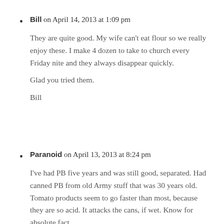Bill on April 14, 2013 at 1:09 pm
They are quite good. My wife can't eat flour so we really enjoy these. I make 4 dozen to take to church every Friday nite and they always disappear quickly.

Glad you tried them.

Bill
Paranoid on April 13, 2013 at 8:24 pm
I've had PB five years and was still good, separated. Had canned PB from old Army stuff that was 30 years old. Tomato products seem to go faster than most, because they are so acid. It attacks the cans, if wet. Know for absolute fact